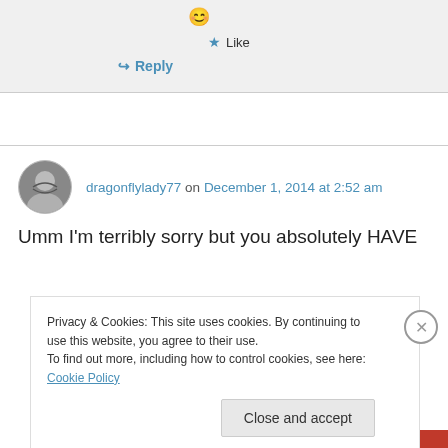[Figure (other): Emoji icon (smiley face)]
★ Like
↪ Reply
dragonflylady77 on December 1, 2014 at 2:52 am
Umm I'm terribly sorry but you absolutely HAVE
Privacy & Cookies: This site uses cookies. By continuing to use this website, you agree to their use.
To find out more, including how to control cookies, see here: Cookie Policy
Close and accept